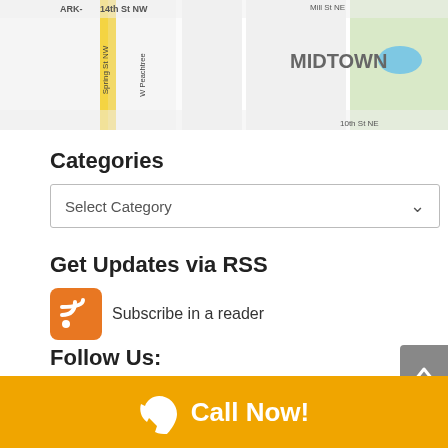[Figure (map): Partial Google Maps view showing Midtown area with 14th St NW, W Peachtree, Spring St NW streets visible]
Categories
Select Category
Get Updates via RSS
Subscribe in a reader
Follow Us:
[Figure (infographic): Social media icons: Facebook, Instagram, LinkedIn, Pinterest, Twitter]
Call Now!